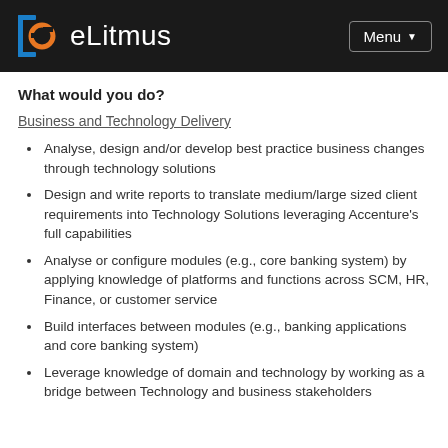eLitmus | Menu
What would you do?
Business and Technology Delivery
Analyse, design and/or develop best practice business changes through technology solutions
Design and write reports to translate medium/large sized client requirements into Technology Solutions leveraging Accenture's full capabilities
Analyse or configure modules (e.g., core banking system) by applying knowledge of platforms and functions across SCM, HR, Finance, or customer service
Build interfaces between modules (e.g., banking applications and core banking system)
Leverage knowledge of domain and technology by working as a bridge between Technology and business stakeholders